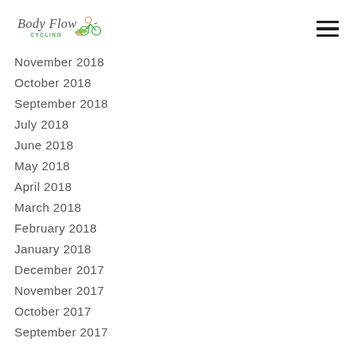Body Flow Cycling [logo]
November 2018
October 2018
September 2018
July 2018
June 2018
May 2018
April 2018
March 2018
February 2018
January 2018
December 2017
November 2017
October 2017
September 2017